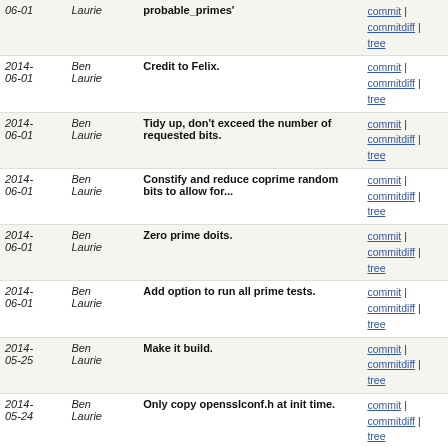| Date | Author | Message | Links |
| --- | --- | --- | --- |
| 2014-06-01 | Ben Laurie | probable_primes' | commit | commitdiff | tree |
| 2014-06-01 | Ben Laurie | Credit to Felix. | commit | commitdiff | tree |
| 2014-06-01 | Ben Laurie | Tidy up, don't exceed the number of requested bits. | commit | commitdiff | tree |
| 2014-06-01 | Ben Laurie | Constify and reduce coprime random bits to allow for... | commit | commitdiff | tree |
| 2014-06-01 | Ben Laurie | Zero prime doits. | commit | commitdiff | tree |
| 2014-06-01 | Ben Laurie | Add option to run all prime tests. | commit | commitdiff | tree |
| 2014-05-25 | Ben Laurie | Make it build. | commit | commitdiff | tree |
| 2014-05-24 | Ben Laurie | Only copy opensslconf.h at init time. | commit | commitdiff | tree |
| 2014-05-22 | Ben Laurie | Merge branch 'heartbeat-test' of git://github.com/mbland... | commit | commitdiff | tree |
| 2014-05-22 | Ben Laurie | Check length first in BUF_strnlen(). | commit | commitdiff | tree |
| 2014-05-21 | Ben Laurie | Remove redundant test. | commit | commitdiff | tree |
| 2014-05-21 | Ben Laurie | Implement BUF_strnlen() and use it instead of strlen(). | commit | commitdiff | tree |
| 2014-05-20 | Ben Laurie | Don't allocate more than is needed in BUF_strndup(). | commit | commitdiff | tree |
| 2014-05-19 | Ben Laurie | Merge branch 'mbland-heartbeat-test' | commit | commitdiff | tree |